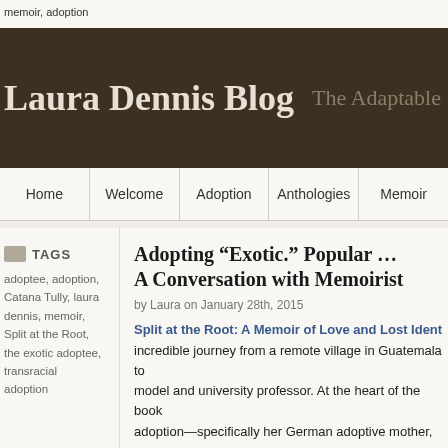memoir, adoption
Laura Dennis Blog
The Adaptable (Adopt
Home | Welcome | Adoption | Anthologies | Memoir
TAGS
adoptee, adoption, Catana Tully, laura dennis, memoir, Split at the Root, the exotic adoptee, transracial adoption
Adopting “Exotic.” Popular … A Conversation with Memoirist
by Laura on January 28th, 2015
Split at the Root: A Memoir of Love and Lost Identit
incredible journey from a remote village in Guatemala to model and university professor. At the heart of the book adoption—specifically her German adoptive mother, an